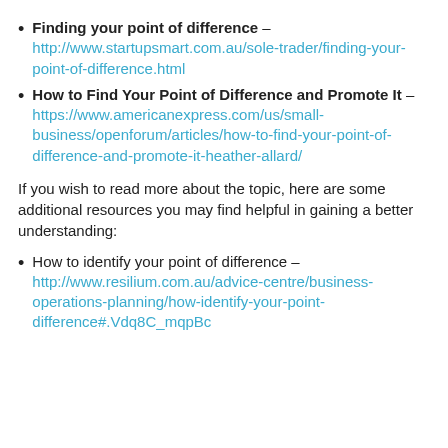Finding your point of difference – http://www.startupsmart.com.au/sole-trader/finding-your-point-of-difference.html
How to Find Your Point of Difference and Promote It – https://www.americanexpress.com/us/small-business/openforum/articles/how-to-find-your-point-of-difference-and-promote-it-heather-allard/
If you wish to read more about the topic, here are some additional resources you may find helpful in gaining a better understanding:
How to identify your point of difference – http://www.resilium.com.au/advice-centre/business-operations-planning/how-identify-your-point-difference#.Vdq8C_mqpBc